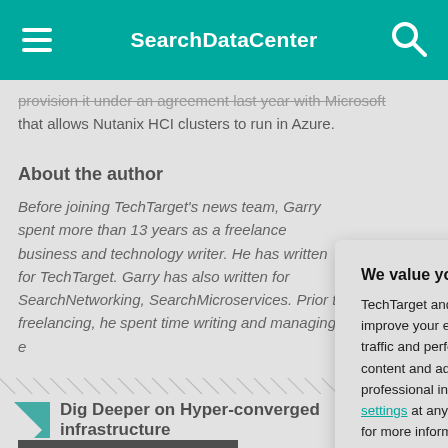SearchDataCenter
provision it under an agreement last year with Microsoft that allows Nutanix HCI clusters to run in Azure.
About the author
Before joining TechTarget's news team, Garry spent more than 13 years as a freelance business and technology writer. He has written for TechTarget. Garry has also written for SearchNetworking, SearchMicroservices. Prior to freelancing, he spent time writing and managing e...
Dig Deeper on Hyper-converged infrastructure
[Figure (screenshot): Cookie consent modal dialog with privacy notice from TechTarget, with OK and Settings buttons]